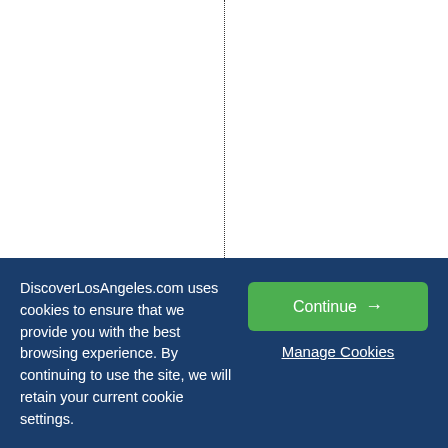t o n e o f A m e r i c a ' s
DiscoverLosAngeles.com uses cookies to ensure that we provide you with the best browsing experience. By continuing to use the site, we will retain your current cookie settings.
Continue →
Manage Cookies